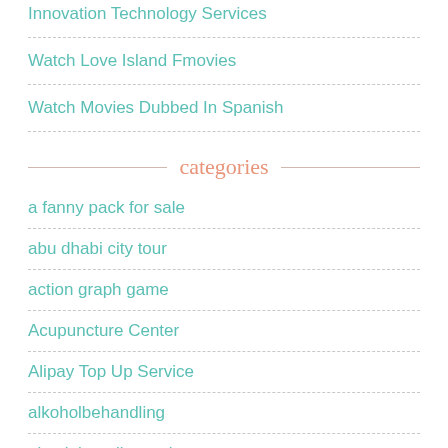Innovation Technology Services
Watch Love Island Fmovies
Watch Movies Dubbed In Spanish
categories
a fanny pack for sale
abu dhabi city tour
action graph game
Acupuncture Center
Alipay Top Up Service
alkoholbehandling
aluminium die casting
apartments